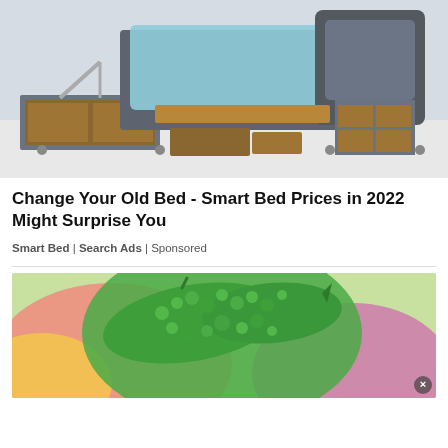[Figure (photo): Photo of a smart storage bed with lift-up mechanism showing wooden storage compartments underneath gray upholstered frame, with teal/light blue bedding visible, in a showroom setting]
Change Your Old Bed - Smart Bed Prices in 2022 Might Surprise You
Smart Bed | Search Ads | Sponsored
[Figure (photo): Close-up photo of bitter melon (bitter gourd) vegetables, bumpy green surface, with colorful blurred flowers in background (pink, red, yellow)]